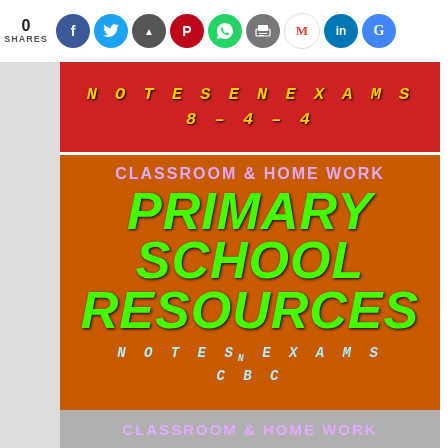0 SHARES [social share icons: Facebook, Twitter, Save, Pinterest, WhatsApp, Print, Gmail, LinkedIn, Google]
[Figure (illustration): Red banner with yellow handwritten-style text reading NOTESENEXAMS 8-4-4]
[Figure (infographic): Orange background block with purple text CLASSROOM & HOME WORK at top, large bright green italic text PRIMARY SCHOOL RESOURCES in center, and light blue handwritten-style text NOTESENEXAMS CBC at bottom]
CLASSROOM & HOME WORK